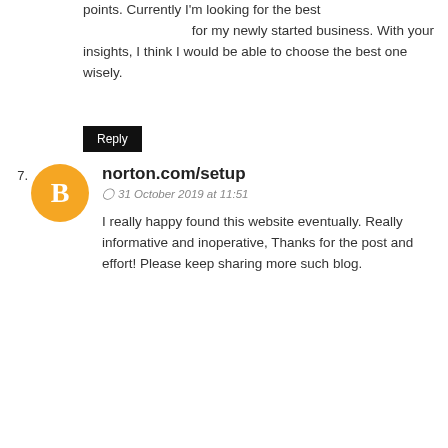points. Currently I'm looking for the best for my newly started business. With your insights, I think I would be able to choose the best one wisely.
Reply
norton.com/setup
31 October 2019 at 11:51
I really happy found this website eventually. Really informative and inoperative, Thanks for the post and effort! Please keep sharing more such blog.